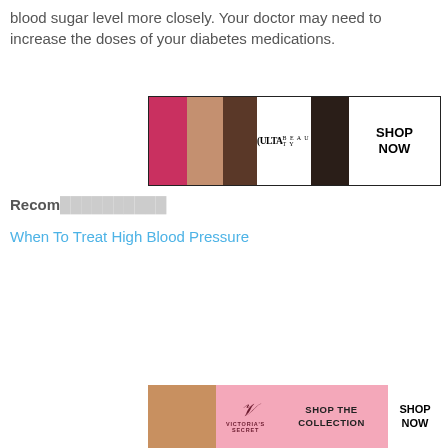blood sugar level more closely. Your doctor may need to increase the doses of your diabetes medications.
[Figure (screenshot): ULTA Beauty advertisement banner showing cosmetic product images and 'SHOP NOW' button]
Recommended reading:
When To Treat High Blood Pressure
[Figure (screenshot): Social media share buttons: Facebook (f), Twitter (bird), Pinterest (p) icons in blue/red colors with a share icon]
[Figure (screenshot): Black popup video overlay in the right portion of the page with a close (×) button]
Previous article
What Is The Proper Blood Pressure
Next article
What Can Cause High Blood Pressure Spikes
[Figure (screenshot): Victoria's Secret advertisement banner with pink background, model photo, logo, 'SHOP THE COLLECTION' text, and 'SHOP NOW' button with 'CLOSE' overlay label]